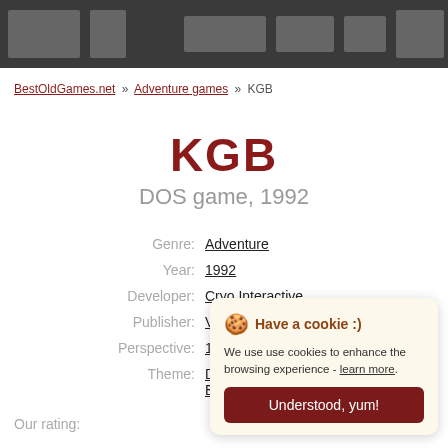[website navigation header banner]
BestOldGames.net » Adventure games » KGB
KGB
DOS game, 1992
| Label | Value |
| --- | --- |
| Genre: | Adventure |
| Year: | 1992 |
| Developer: | Cryo Interactive |
| Publisher: | Virgin Games |
| Perspective: | 1st-person |
| Theme: | Detective / My... / Espionage |
Our rating:
Have a cookie :)
We use use cookies to enhance the browsing experience - learn more.
Understood, yum!